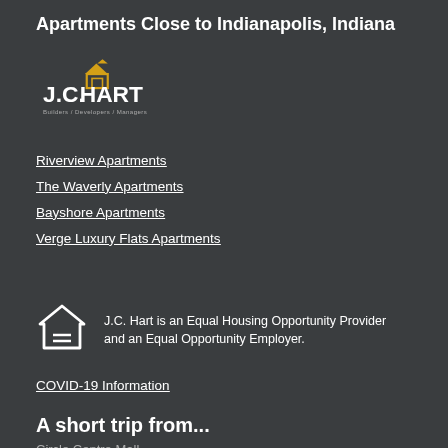Apartments Close to Indianapolis, Indiana
[Figure (logo): J.C. Hart Company logo — white and gold text reading J.C. HART with tagline Builders / Developers / Managers and a house/roof icon in gold above the text]
Riverview Apartments
The Waverly Apartments
Bayshore Apartments
Verge Luxury Flats Apartments
J.C. Hart is an Equal Housing Opportunity Provider and an Equal Opportunity Employer.
COVID-19 Information
A short trip from...
Circle Centre Mall